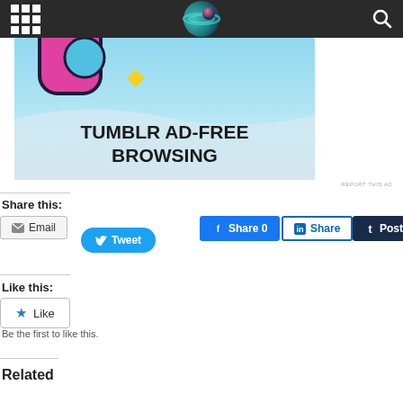[Figure (screenshot): Website navigation bar with grid icon on left, circular logo image in center, and search icon on right, dark background]
[Figure (illustration): Tumblr ad banner with blue sky background, pink and blue decorative shapes, yellow diamond, wave shape, and bold text reading TUMBLR AD-FREE BROWSING]
REPORT THIS AD
Share this:
Email
Tweet
Share 0
Share
Post
Like this:
Like
Be the first to like this.
Related